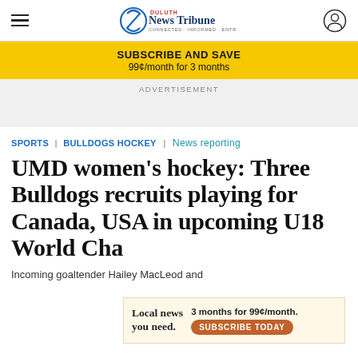Duluth News Tribune
SUBSCRIBE AND SAVE 99¢/month for 3 months
ADVERTISEMENT
SPORTS | BULLDOGS HOCKEY | News reporting
UMD women's hockey: Three Bulldogs recruits playing for Canada, USA in upcoming U18 World Cha...
Incoming goaltender Hailey MacLeod and
Local news you need. 3 months for 99¢/month. SUBSCRIBE TODAY